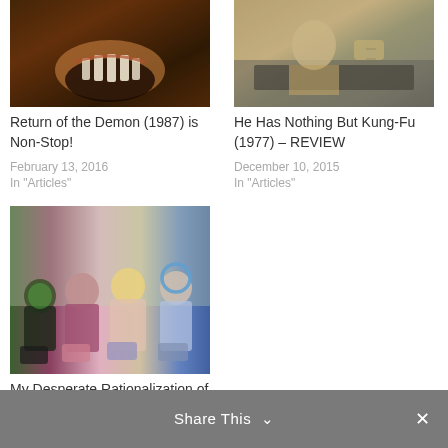[Figure (photo): Close-up of a monster/demon face showing teeth, likely a horror movie still]
Return of the Demon (1987) is Non-Stop!
February 13, 2016
In "Articles"
[Figure (photo): Person in a car, wearing a watch, kung-fu movie still]
He Has Nothing But Kung-Fu (1977) – REVIEW
December 10, 2015
In "Articles"
[Figure (photo): Group of four young people sitting, colorful clothing, movie still from Detention]
My Desperate Rationalization of the Time Travel in Joseph Kahn's DETENTION
August 11, 2017
In "Essays"
Share This  ✓  ×